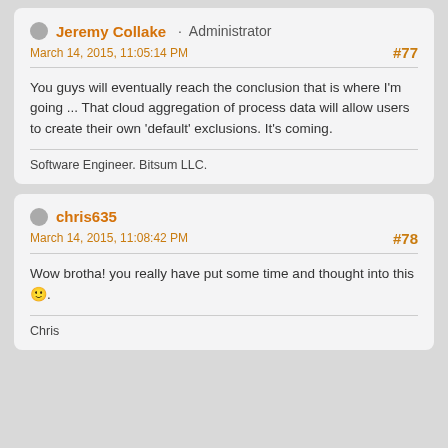Jeremy Collake · Administrator
March 14, 2015, 11:05:14 PM
#77
You guys will eventually reach the conclusion that is where I'm going ... That cloud aggregation of process data will allow users to create their own 'default' exclusions. It's coming.
Software Engineer. Bitsum LLC.
chris635
March 14, 2015, 11:08:42 PM
#78
Wow brotha! you really have put some time and thought into this 🙂.
Chris